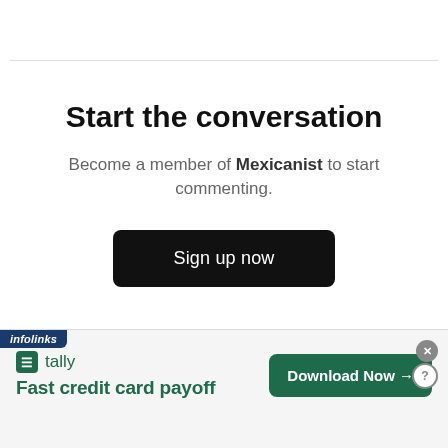Start the conversation
Become a member of Mexicanist to start commenting.
Sign up now
Already a member? Sign in
[Figure (screenshot): Infolinks advertisement banner for Tally app: 'Fast credit card payoff' with a 'Download Now' button. Has infolinks label, close (x) button, and help (?) button.]